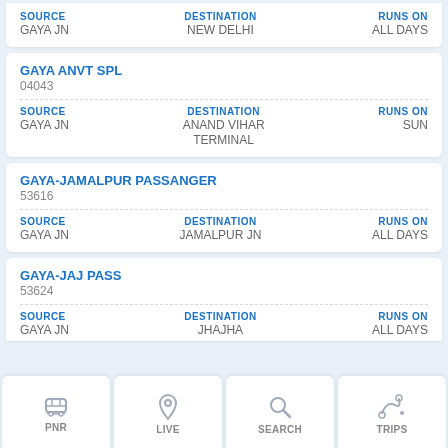| SOURCE | DESTINATION | RUNS ON |
| --- | --- | --- |
| GAYA JN | NEW DELHI | ALL DAYS |
GAYA ANVT SPL
04043
| SOURCE | DESTINATION | RUNS ON |
| --- | --- | --- |
| GAYA JN | ANAND VIHAR TERMINAL | SUN |
GAYA-JAMALPUR PASSANGER
53616
| SOURCE | DESTINATION | RUNS ON |
| --- | --- | --- |
| GAYA JN | JAMALPUR JN | ALL DAYS |
GAYA-JAJ PASS
53624
| SOURCE | DESTINATION | RUNS ON |
| --- | --- | --- |
| GAYA JN | JHAJHA | ALL DAYS |
PNR   LIVE   SEARCH   TRIPS